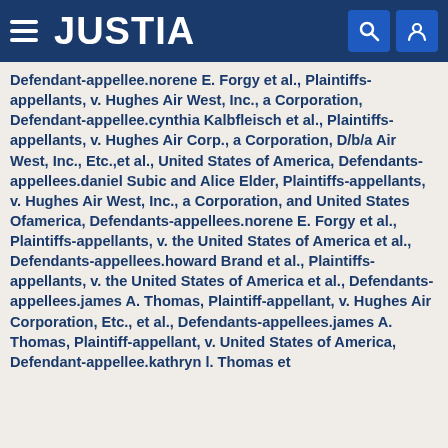JUSTIA
Defendant-appellee.norene E. Forgy et al., Plaintiffs-appellants, v. Hughes Air West, Inc., a Corporation, Defendant-appellee.cynthia Kalbfleisch et al., Plaintiffs-appellants, v. Hughes Air Corp., a Corporation, D/b/a Air West, Inc., Etc.,et al., United States of America, Defendants-appellees.daniel Subic and Alice Elder, Plaintiffs-appellants, v. Hughes Air West, Inc., a Corporation, and United States Ofamerica, Defendants-appellees.norene E. Forgy et al., Plaintiffs-appellants, v. the United States of America et al., Defendants-appellees.howard Brand et al., Plaintiffs-appellants, v. the United States of America et al., Defendants-appellees.james A. Thomas, Plaintiff-appellant, v. Hughes Air Corporation, Etc., et al., Defendants-appellees.james A. Thomas, Plaintiff-appellant, v. United States of America, Defendant-appellee.kathryn l. Thomas et